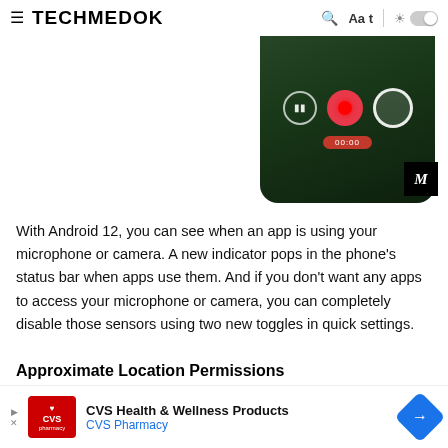TECHMEDOK
[Figure (screenshot): Smartphone screen showing a camera recording interface with pause, record (red), and shutter buttons, and a timer bar. A black box with stylized M logo appears beside it.]
With Android 12, you can see when an app is using your microphone or camera. A new indicator pops in the phone's status bar when apps use them. And if you don't want any apps to access your microphone or camera, you can completely disable those sensors using two new toggles in quick settings.
Approximate Location Permissions
[Figure (screenshot): Partial screenshot of the next section's illustration, showing a light blue background with a partial grey circle element.]
CVS Health & Wellness Products CVS Pharmacy (advertisement)